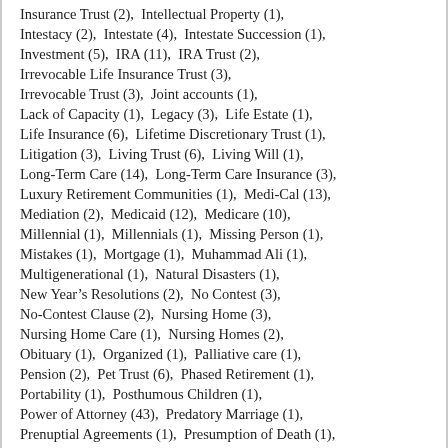Insurance Trust (2),  Intellectual Property (1),  Intestacy (2),  Intestate (4),  Intestate Succession (1),  Investment (5),  IRA (11),  IRA Trust (2),  Irrevocable Life Insurance Trust (3),  Irrevocable Trust (3),  Joint accounts (1),  Lack of Capacity (1),  Legacy (3),  Life Estate (1),  Life Insurance (6),  Lifetime Discretionary Trust (1),  Litigation (3),  Living Trust (6),  Living Will (1),  Long-Term Care (14),  Long-Term Care Insurance (3),  Luxury Retirement Communities (1),  Medi-Cal (13),  Mediation (2),  Medicaid (12),  Medicare (10),  Millennial (1),  Millennials (1),  Missing Person (1),  Mistakes (1),  Mortgage (1),  Muhammad Ali (1),  Multigenerational (1),  Natural Disasters (1),  New Year's Resolutions (2),  No Contest (3),  No-Contest Clause (2),  Nursing Home (3),  Nursing Home Care (1),  Nursing Homes (2),  Obituary (1),  Organized (1),  Palliative care (1),  Pension (2),  Pet Trust (6),  Phased Retirement (1),  Portability (1),  Posthumous Children (1),  Power of Attorney (43),  Predatory Marriage (1),  Prenuptial Agreements (1),  Presumption of Death (1),  Probate (36),  Real Estate Law (2),  Relocating (2),